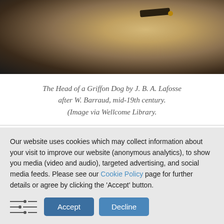[Figure (photo): Close-up portrait painting of a Griffon dog with shaggy light brown/golden fur and a dark collar with a buckle, against a dark background.]
The Head of a Griffon Dog by J. B. A. Lafosse after W. Barraud, mid-19th century. (Image via Wellcome Library.
Our website uses cookies which may collect information about your visit to improve our website (anonymous analytics), to show you media (video and audio), targeted advertising, and social media feeds. Please see our Cookie Policy page for further details or agree by clicking the 'Accept' button.